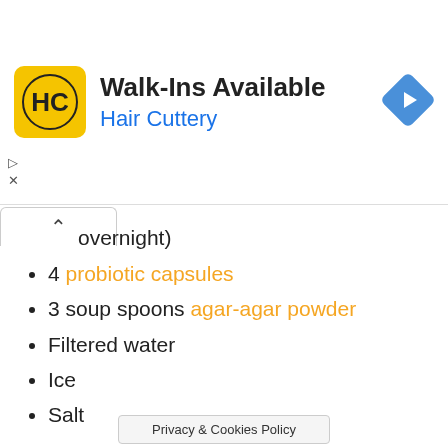[Figure (advertisement): Hair Cuttery ad banner with yellow HC logo, 'Walk-Ins Available' headline, blue 'Hair Cuttery' subtitle, and blue navigation icon]
overnight)
4 probiotic capsules
3 soup spoons agar-agar powder
Filtered water
Ice
Salt
For the full preparation instructions and more photos of the recipe, click here.
Dear friends, w… to
Privacy & Cookies Policy